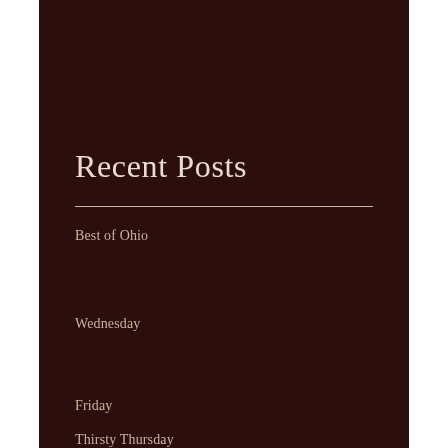Recent Posts
Best of Ohio
Wednesday
Friday
Thirsty Thursday